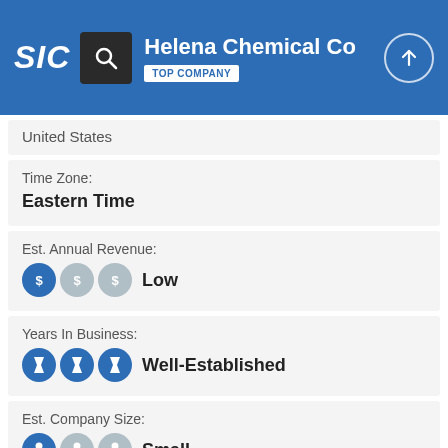SIC | Helena Chemical Co | TOP COMPANY
United States
Time Zone:
Eastern Time
Est. Annual Revenue:
[S][S][S] Low
Years In Business:
[hourglass][hourglass][hourglass] Well-Established
Est. Company Size:
[person][person][person] Small